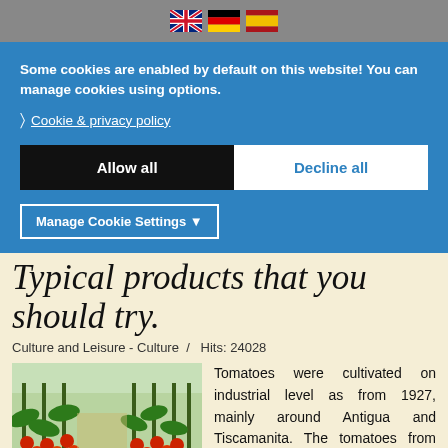[Figure (illustration): UK, German, and Spanish flag icons in a grey navigation bar at top]
Some cookies are enabled by default on this website! You can manage cookies using options.
> Cookie & privacy policy
Allow all
Decline all
Manage Cookie Settings ▼
Typical products that you should try.
Culture and Leisure - Culture  /  Hits: 24028
[Figure (photo): Greenhouse with rows of tomato plants bearing red tomatoes]
Tomatoes were cultivated on industrial level as from 1927, mainly around Antigua and Tiscamanita. The tomatoes from this